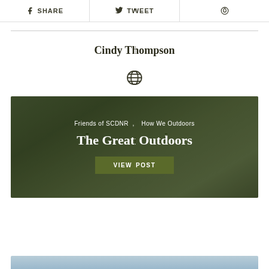SHARE   TWEET   (Pinterest)
Cindy Thompson
[Figure (illustration): Globe/website icon]
[Figure (photo): Forest/tree background card with text: Friends of SCDNR, How We Outdoors — The Great Outdoors — VIEW POST button]
[Figure (photo): Bottom partial image strip with blue/grey tones]